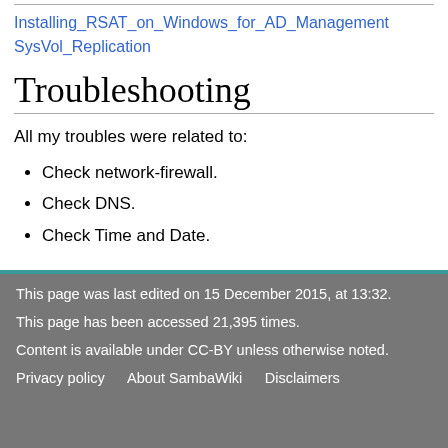Installing_RSAT_on_Windows_for_AD_Management SysVol_Replication
Troubleshooting
All my troubles were related to:
Check network-firewall.
Check DNS.
Check Time and Date.
This page was last edited on 15 December 2015, at 13:32.
This page has been accessed 21,395 times.
Content is available under CC-BY unless otherwise noted.
Privacy policy   About SambaWiki   Disclaimers